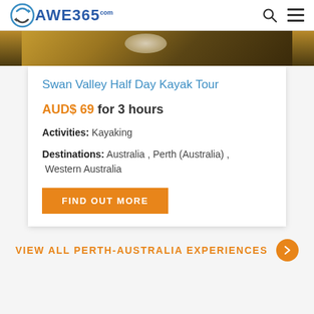AWE365.com
[Figure (photo): Partial photo of a kayak or boat on water, golden/brown tones]
Swan Valley Half Day Kayak Tour
AUD$ 69 for 3 hours
Activities: Kayaking
Destinations: Australia, Perth (Australia), Western Australia
FIND OUT MORE
VIEW ALL PERTH-AUSTRALIA EXPERIENCES